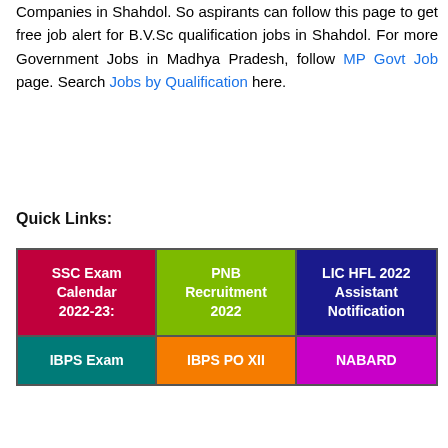Companies in Shahdol. So aspirants can follow this page to get free job alert for B.V.Sc qualification jobs in Shahdol. For more Government Jobs in Madhya Pradesh, follow MP Govt Job page. Search Jobs by Qualification here.
Quick Links:
[Figure (infographic): Quick Links grid with 6 colored cells: SSC Exam Calendar 2022-23 (red), PNB Recruitment 2022 (green), LIC HFL 2022 Assistant Notification (navy), IBPS Exam (teal), IBPS PO XII (orange), NABARD (magenta)]